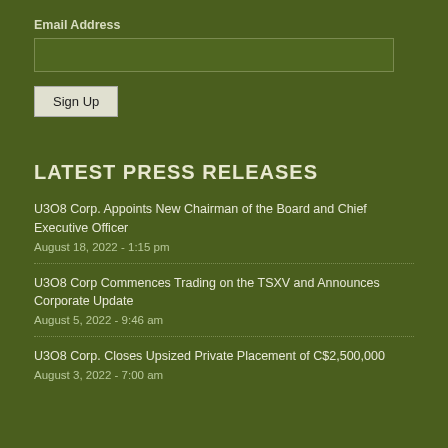Email Address
LATEST PRESS RELEASES
U3O8 Corp. Appoints New Chairman of the Board and Chief Executive Officer
August 18, 2022 - 1:15 pm
U3O8 Corp Commences Trading on the TSXV and Announces Corporate Update
August 5, 2022 - 9:46 am
U3O8 Corp. Closes Upsized Private Placement of C$2,500,000
August 3, 2022 - 7:00 am